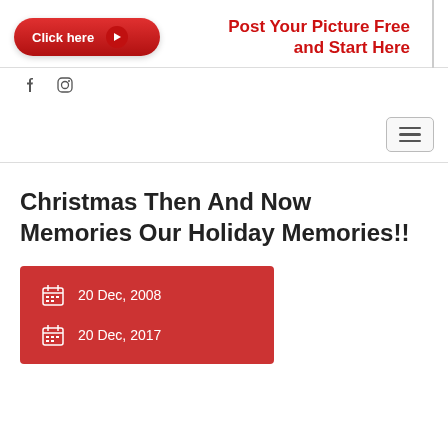Click here | Post Your Picture Free and Start Here
f  [instagram icon]
[Figure (other): Hamburger menu toggle button]
Christmas Then And Now Memories Our Holiday Memories!!
20 Dec, 2008
20 Dec, 2017